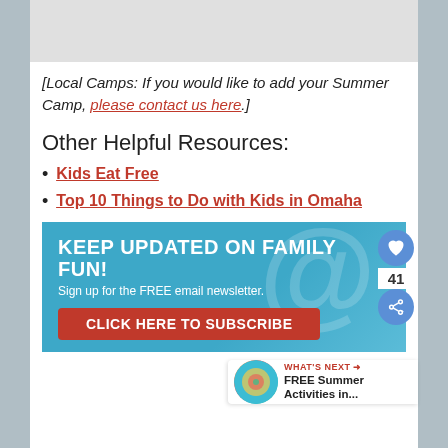[Figure (other): Top image area (partially visible, gray/white)]
[Local Camps: If you would like to add your Summer Camp, please contact us here.]
Other Helpful Resources:
Kids Eat Free
Top 10 Things to Do with Kids in Omaha
[Figure (infographic): Newsletter signup banner: KEEP UPDATED ON FAMILY FUN! Sign up for the FREE email newsletter. CLICK HERE TO SUBSCRIBE]
[Figure (other): What's Next panel: FREE Summer Activities in...]